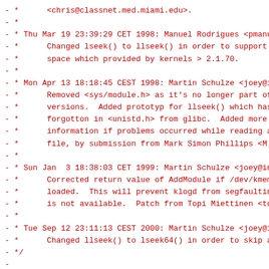- *      <chris@classnet.med.miami.edu>.
- *
- * Thu Mar 19 23:39:29 CET 1998: Manuel Rodrigues <pmanuel@c
- *      Changed lseek() to llseek() in order to support > 2GB
- *      space which provided by kernels > 2.1.70.
- *
- * Mon Apr 13 18:18:45 CEST 1998: Martin Schulze <joey@infod
- *      Removed <sys/module.h> as it's no longer part of rece
- *      versions.  Added prototyp for llseek() which has been
- *      forgotton in <unistd.h> from glibc.  Added more log
- *      information if problems occurred while reading a syst
- *      file, by submission from Mark Simon Phillips <M.S.Phi
- *
- * Sun Jan  3 18:38:03 CET 1999: Martin Schulze <joey@infodr
- *      Corrected return value of AddModule if /dev/kmem can'
- *      loaded.  This will prevent klogd from segfaulting if
- *      is not available.  Patch from Topi Miettinen <tom@med
- *
- * Tue Sep 12 23:11:13 CEST 2000: Martin Schulze <joey@infod
- *      Changed llseek() to lseek64() in order to skip a libc
- */
-
-/* Includes. */
-#include "config.h"
-#include <stdio.h>